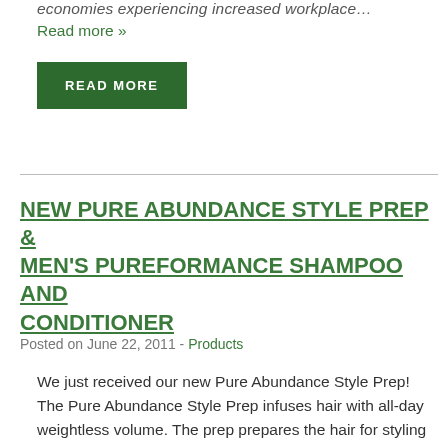economies experiencing increased workplace…
Read more »
READ MORE
NEW PURE ABUNDANCE STYLE PREP & MEN'S PUREFORMANCE SHAMPOO AND CONDITIONER
Posted on June 22, 2011 - Products
We just received our new Pure Abundance Style Prep! The Pure Abundance Style Prep infuses hair with all-day weightless volume. The prep prepares the hair for styling by setting a